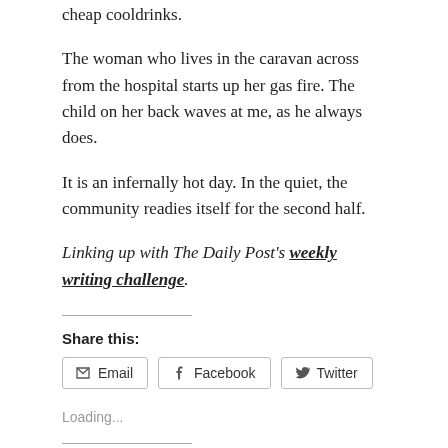cheap cooldrinks.
The woman who lives in the caravan across from the hospital starts up her gas fire. The child on her back waves at me, as he always does.
It is an infernally hot day. In the quiet, the community readies itself for the second half.
Linking up with The Daily Post's weekly writing challenge.
Share this:
Email   Facebook   Twitter
Loading...